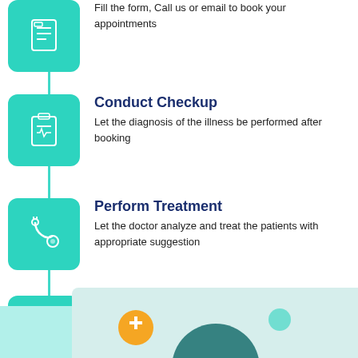Fill the form, Call us or email to book your appointments
Conduct Checkup
Let the diagnosis of the illness be performed after booking
Perform Treatment
Let the doctor analyze and treat the patients with appropriate suggestion
Prescribe & Payment
Prescribe the patients with medications if needed or counselling
[Figure (illustration): Bottom section showing a medical illustration with a doctor and patient, partially visible. Left teal block and light blue background area.]